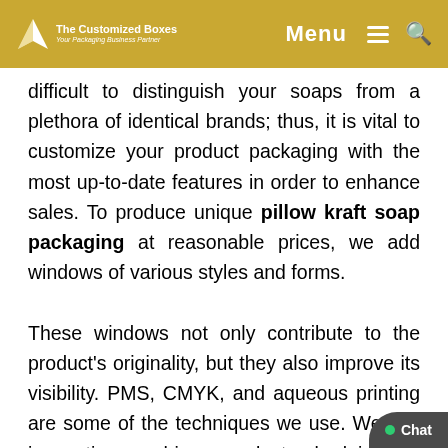The Customized Boxes — Your Packaging Business Partner | Menu | Search
difficult to distinguish your soaps from a plethora of identical brands; thus, it is vital to customize your product packaging with the most up-to-date features in order to enhance sales. To produce unique pillow kraft soap packaging at reasonable prices, we add windows of various styles and forms.

These windows not only contribute to the product's originality, but they also improve its visibility. PMS, CMYK, and aqueous printing are some of the techniques we use. We use innovative machinery and standard inks to create the best and most economical foldable kraft pillow soap box